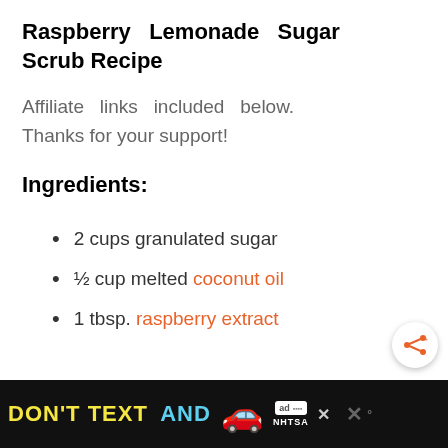Raspberry Lemonade Sugar Scrub Recipe
Affiliate links included below. Thanks for your support!
Ingredients:
2 cups granulated sugar
½ cup melted coconut oil
1 tbsp. raspberry extract
DON'T TEXT AND [car emoji] ad NHTSA [close] [weather icon]